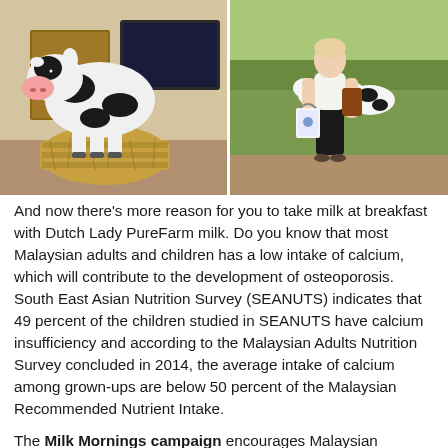[Figure (photo): A photo showing a life-size model/statue of a black and white cow sitting on hay bales on the left side, and a woman in a white top and black pants holding a white shopping bag standing in front of a backdrop showing real cows grazing in a green field on the right side.]
And now there's more reason for you to take milk at breakfast with Dutch Lady PureFarm milk. Do you know that most Malaysian adults and children has a low intake of calcium, which will contribute to the development of osteoporosis. South East Asian Nutrition Survey (SEANUTS) indicates that 49 percent of the children studied in SEANUTS have calcium insufficiency and according to the Malaysian Adults Nutrition Survey concluded in 2014, the average intake of calcium among grown-ups are below 50 percent of the Malaysian Recommended Nutrient Intake.
The Milk Mornings campaign encourages Malaysian